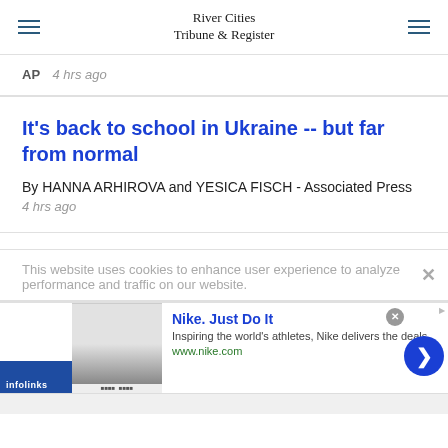River Cities Tribune & Register
AP  4 hrs ago
It's back to school in Ukraine -- but far from normal
By HANNA ARHIROVA and YESICA FISCH - Associated Press
4 hrs ago
This website uses cookies to enhance user experience to analyze performance and traffic on our website.
[Figure (screenshot): Nike advertisement with infolinks badge: 'Nike. Just Do It' - Inspiring the world's athletes, Nike delivers the deals - www.nike.com]